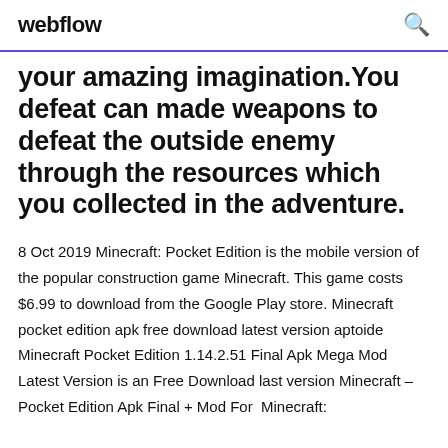webflow
your amazing imagination.You defeat can made weapons to defeat the outside enemy through the resources which you collected in the adventure.
8 Oct 2019 Minecraft: Pocket Edition is the mobile version of the popular construction game Minecraft. This game costs $6.99 to download from the Google Play store. Minecraft pocket edition apk free download latest version aptoide  Minecraft Pocket Edition 1.14.2.51 Final Apk Mega Mod Latest Version is an Free Download last version Minecraft – Pocket Edition Apk Final + Mod For  Minecraft: